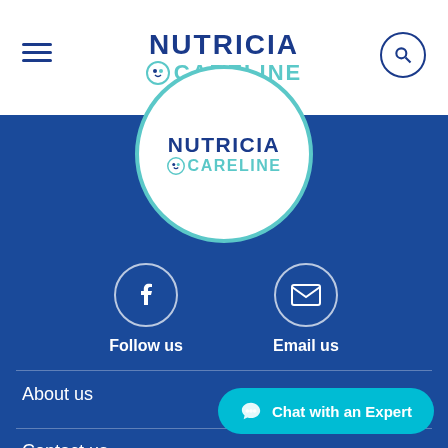[Figure (logo): Nutricia Careline logo in header — dark blue NUTRICIA text above teal CARELINE text with small icon]
[Figure (logo): Nutricia Careline circular logo in blue section — white circle with dark blue NUTRICIA and teal CARELINE text]
[Figure (infographic): Facebook follow us icon circle and email icon circle with labels Follow us and Email us]
About us
Contact us
Chat with an Expert